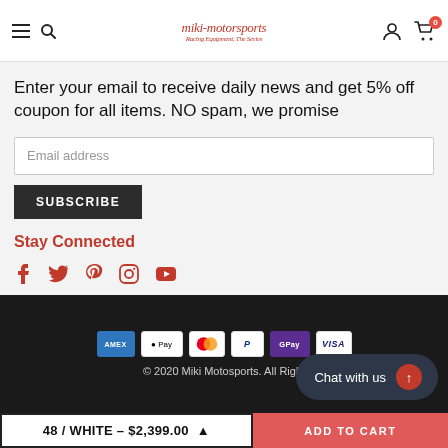miki-motorsports
Enter your email to receive daily news and get 5% off coupon for all items. NO spam, we promise
Stay Connected
[Figure (infographic): Social media icons: Facebook, Twitter, Pinterest, Instagram, YouTube]
[Figure (infographic): Payment method logos: Amex, Apple Pay, Mastercard, PayPal, GPay, Visa]
© 2020 Miki Motosports. All Rights
48 / WHITE - $2,399.00
ADD TO CART